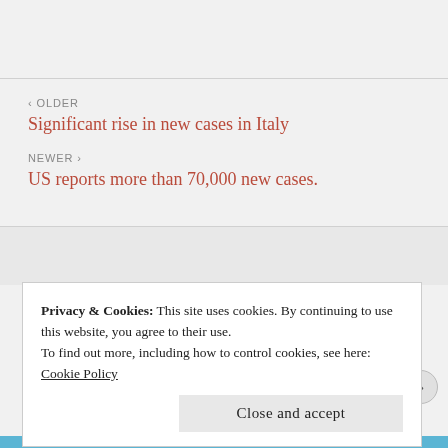‹ OLDER
Significant rise in new cases in Italy
NEWER ›
US reports more than 70,000 new cases.
Privacy & Cookies: This site uses cookies. By continuing to use this website, you agree to their use.
To find out more, including how to control cookies, see here:
Cookie Policy
Close and accept